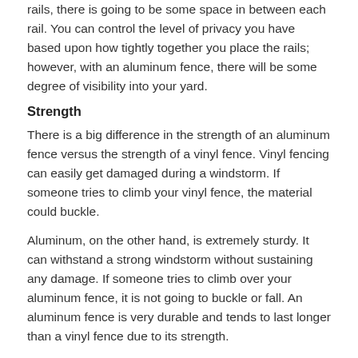rails, there is going to be some space in between each rail. You can control the level of privacy you have based upon how tightly together you place the rails; however, with an aluminum fence, there will be some degree of visibility into your yard.
Strength
There is a big difference in the strength of an aluminum fence versus the strength of a vinyl fence. Vinyl fencing can easily get damaged during a windstorm. If someone tries to climb your vinyl fence, the material could buckle.
Aluminum, on the other hand, is extremely sturdy. It can withstand a strong windstorm without sustaining any damage. If someone tries to climb over your aluminum fence, it is not going to buckle or fall. An aluminum fence is very durable and tends to last longer than a vinyl fence due to its strength.
Maintenance
Both aluminum and vinyl fencing are low-maintenance materials. With a vinyl fence though, you will need to use a pressure washer and cleaner on your fence at least once or twice a year to remove mildew, hard water stains, and dirt from your fence. With an aluminum fence, you don't need to pressure wash or clean your fence, as it will not develop hard water stains or mildew.